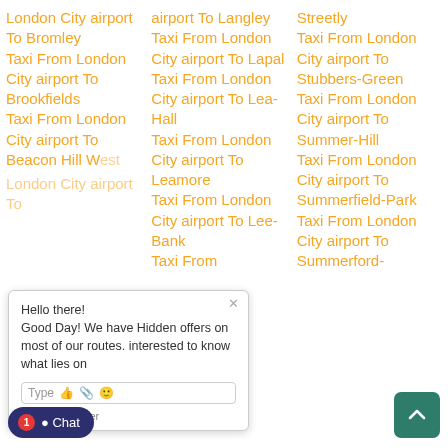London City airport To Bromley
Taxi From London City airport To Brookfields
Taxi From London City airport To Beacon Hill West
airport To Langley
Taxi From London City airport To Lapal
Taxi From London City airport To Lea-Hall
Taxi From London City airport To Leamore
Taxi From London City airport To Lee-Bank
Taxi From
Streetly
Taxi From London City airport To Stubbers-Green
Taxi From London City airport To Summer-Hill
Taxi From London City airport To Summerfield-Park
Taxi From London City airport To Summerford-